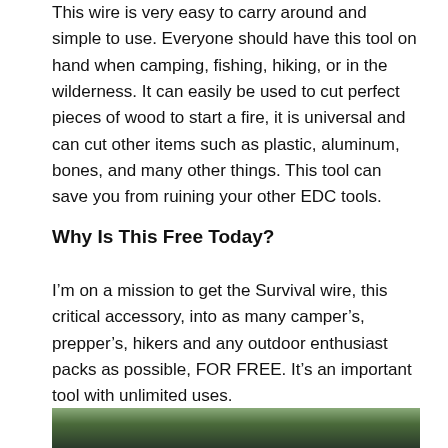This wire is very easy to carry around and simple to use. Everyone should have this tool on hand when camping, fishing, hiking, or in the wilderness. It can easily be used to cut perfect pieces of wood to start a fire, it is universal and can cut other items such as plastic, aluminum, bones, and many other things. This tool can save you from ruining your other EDC tools.
Why Is This Free Today?
I’m on a mission to get the Survival wire, this critical accessory, into as many camper’s, prepper’s, hikers and any outdoor enthusiast packs as possible, FOR FREE. It’s an important tool with unlimited uses.
[Figure (photo): Outdoor nature photo showing green foliage and a dark background, likely a forest or wilderness scene.]